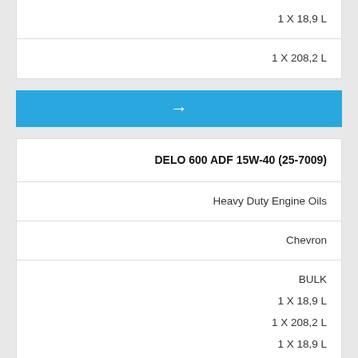1 X 18,9 L
1 X 208,2 L
[Figure (other): Blue bar with white right arrow]
DELO 600 ADF 15W-40 (25-7009)
Heavy Duty Engine Oils
Chevron
BULK
1 X 18,9 L
1 X 208,2 L
1 X 18,9 L
1 X 208,2 L
[Figure (other): Blue bar with white right arrow]